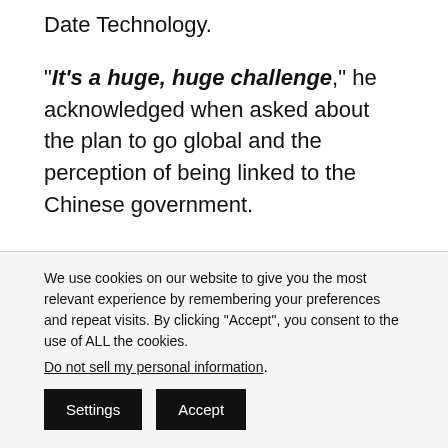Date Technology.
“It’s a huge, huge challenge,” he acknowledged when asked about the plan to go global and the perception of being linked to the Chinese government.
He said the international version of the platform will be open-source, allowing participants in the public
We use cookies on our website to give you the most relevant experience by remembering your preferences and repeat visits. By clicking “Accept”, you consent to the use of ALL the cookies.
Do not sell my personal information.